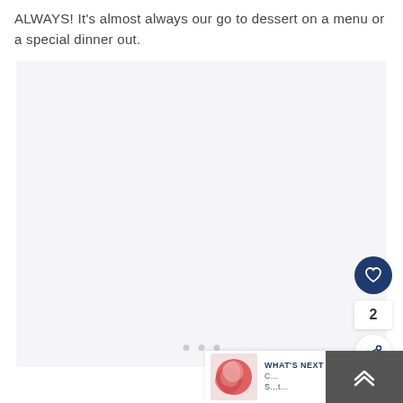ALWAYS! It's almost always our go to dessert on a menu or a special dinner out.
[Figure (photo): Large light gray placeholder image area with three small dots near the bottom center, indicating an image carousel or loading state. Social interaction buttons (heart, share) and a count of 2 are overlaid on the right side.]
WHAT'S NEXT →
[Figure (photo): Small circular thumbnail showing a red and white swirled dessert image, part of the What's Next navigation bar.]